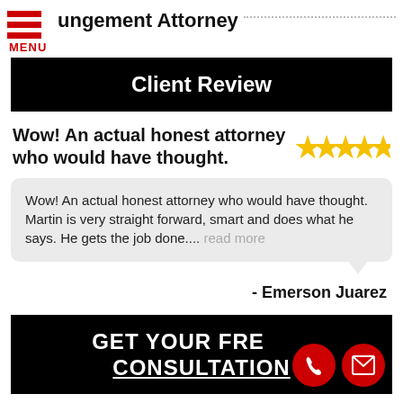ungement Attorney
Client Review
Wow! An actual honest attorney who would have thought.
[Figure (other): Five gold star rating icons]
Wow! An actual honest attorney who would have thought. Martin is very straight forward, smart and does what he says. He gets the job done.... read more
- Emerson Juarez
GET YOUR FREE CONSULTATION